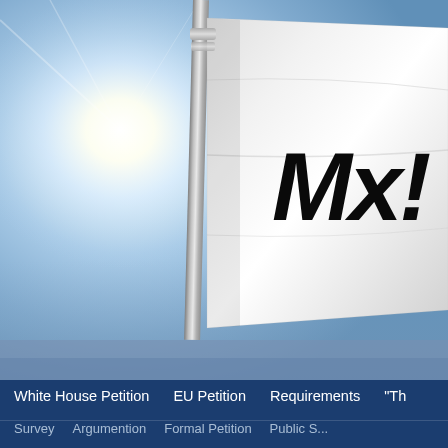[Figure (photo): Close-up photograph of a white flag on a silver metal pole against a blue sky with bright sunlight. The flag displays the text 'Mx!' in large bold black italic letters.]
White House Petition   EU Petition   Requirements   "Th...